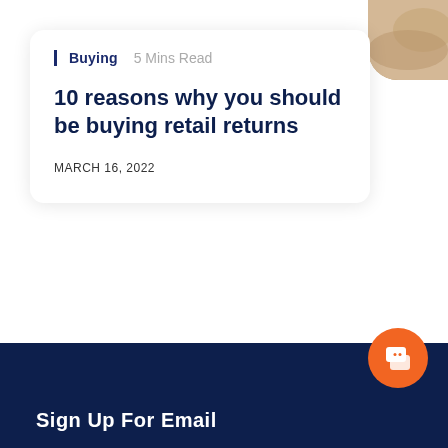[Figure (photo): Partial photo of a shoe or leather item visible in the top-right corner]
Buying   5 Mins Read
10 reasons why you should be buying retail returns
MARCH 16, 2022
Sign Up For Email